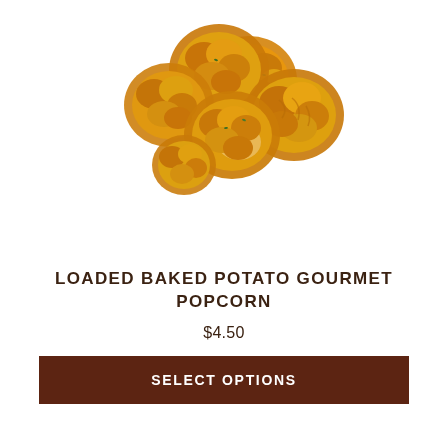[Figure (photo): A cluster of golden-orange loaded baked potato gourmet popcorn pieces piled together on a white background]
LOADED BAKED POTATO GOURMET POPCORN
$4.50
SELECT OPTIONS